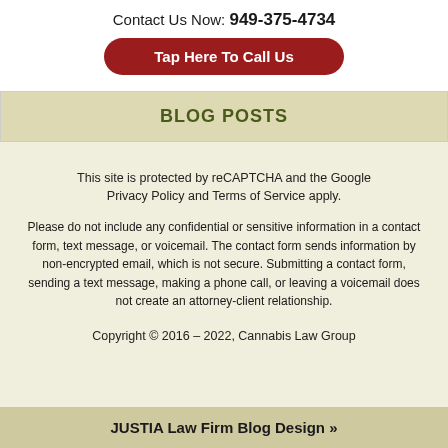Contact Us Now: 949-375-4734
Tap Here To Call Us
BLOG POSTS
This site is protected by reCAPTCHA and the Google Privacy Policy and Terms of Service apply.
Please do not include any confidential or sensitive information in a contact form, text message, or voicemail. The contact form sends information by non-encrypted email, which is not secure. Submitting a contact form, sending a text message, making a phone call, or leaving a voicemail does not create an attorney-client relationship.
Copyright © 2016 – 2022, Cannabis Law Group
JUSTIA Law Firm Blog Design »